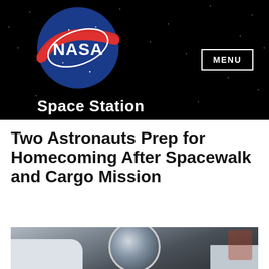[Figure (logo): NASA meatball logo on black starfield background with 'Space Station' text below]
Two Astronauts Prep for Homecoming After Spacewalk and Cargo Mission
[Figure (photo): Close-up photograph of an astronaut in a spacesuit helmet]